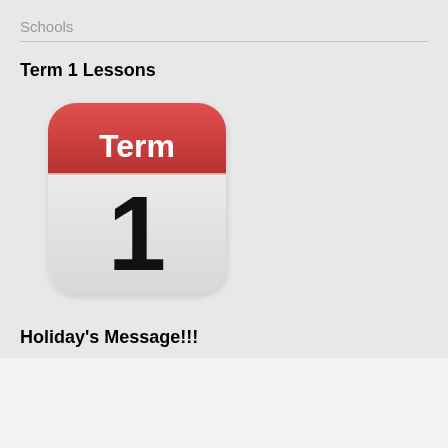Schools
Term 1 Lessons
[Figure (illustration): Calendar app icon with red header bar showing 'Term' in white text and a large number '1' in the white body area, with rounded corners and a slight shadow effect.]
Holiday's Message!!!